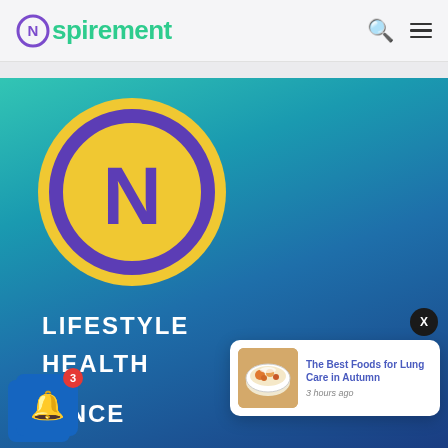Nspirement
[Figure (logo): Nspirement logo: CN circular icon in purple on yellow circle, large version on teal-blue gradient background]
LIFESTYLE
HEALTH
IENCE
[Figure (screenshot): Notification popup card: image of soup bowl, title 'The Best Foods for Lung Care in Autumn', timestamp '3 hours ago']
The Best Foods for Lung Care in Autumn
3 hours ago